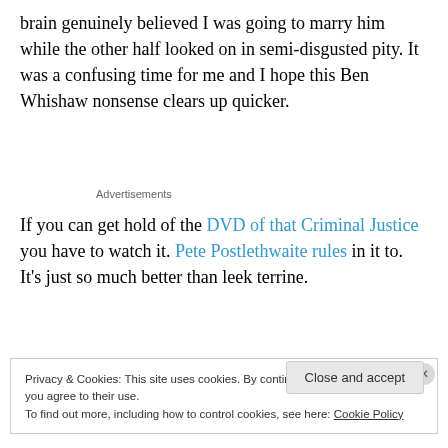brain genuinely believed I was going to marry him while the other half looked on in semi-disgusted pity. It was a confusing time for me and I hope this Ben Whishaw nonsense clears up quicker.
Advertisements
If you can get hold of the DVD of that Criminal Justice you have to watch it. Pete Postlethwaite rules in it to. It's just so much better than leek terrine.
Privacy & Cookies: This site uses cookies. By continuing to use this website, you agree to their use.
To find out more, including how to control cookies, see here: Cookie Policy
Close and accept